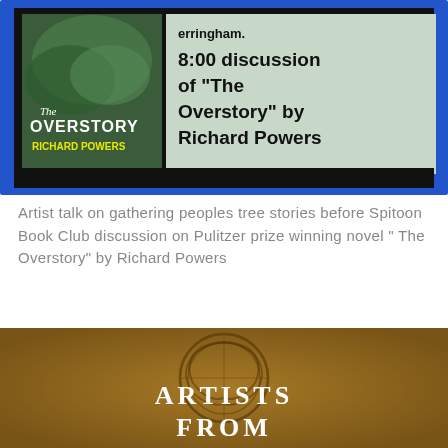[Figure (illustration): Event flyer showing book cover of 'The Overstory' by Richard Powers on the left (tree canopy cover image with yellow author name) and event text on a light green background on the right: '8:00 discussion of "The Overstory" by Richard Powers'. Framed with blue and black borders.]
Artist talk on gathering peoples tree stories before Spitoon Book Club discussion on Pulitzer prize winning novel " The Overstory" by Richard Powers
[Figure (illustration): A textured brown/golden background with an ornate Celtic-style circular design and the text 'ARTISTS FROM' in white serif letters.]